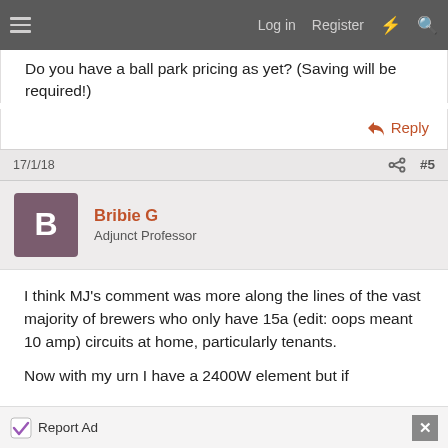Log in  Register
Do you have a ball park pricing as yet? (Saving will be required!)
Reply
17/1/18  #5
Bribie G
Adjunct Professor
I think MJ's comment was more along the lines of the vast majority of brewers who only have 15a (edit: oops meant 10 amp) circuits at home, particularly tenants.

Now with my urn I have a 2400W element but if
Report Ad